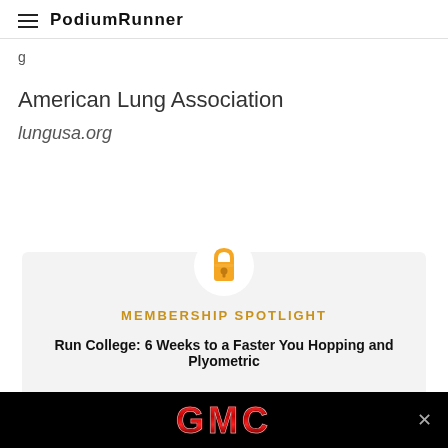PodiumRunner
American Lung Association
lungusa.org
[Figure (other): Lock icon inside white circle, above membership spotlight card]
MEMBERSHIP SPOTLIGHT
Run College: 6 Weeks to a Faster You Hopping and Plyometric
[Figure (logo): GMC logo advertisement banner at bottom of page with close button]